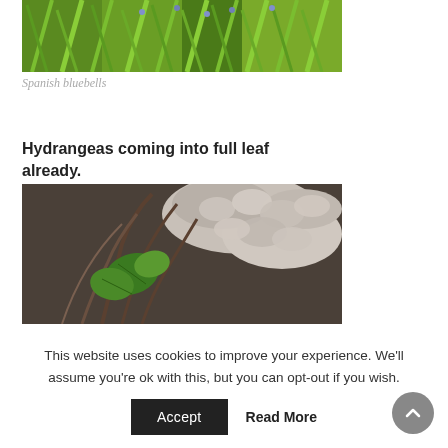[Figure (photo): Close-up photograph of Spanish bluebells plant with green grass-like leaves and small blue bell-shaped flowers]
Spanish bluebells
Hydrangeas coming into full leaf already.
[Figure (photo): Close-up photograph of hydrangea plant showing new green leaves emerging alongside dried pale/white old flower heads on brown woody stems]
This website uses cookies to improve your experience. We'll assume you're ok with this, but you can opt-out if you wish.